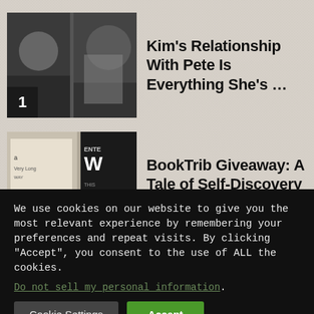1 Kim's Relationship With Pete Is Everything She's ...
2 BookTrib Giveaway: A Tale of Self-Discovery and ...
3 Here's How The "Jurassic World:
We use cookies on our website to give you the most relevant experience by remembering your preferences and repeat visits. By clicking "Accept", you consent to the use of ALL the cookies.
Do not sell my personal information.
Cookie Settings | Accept